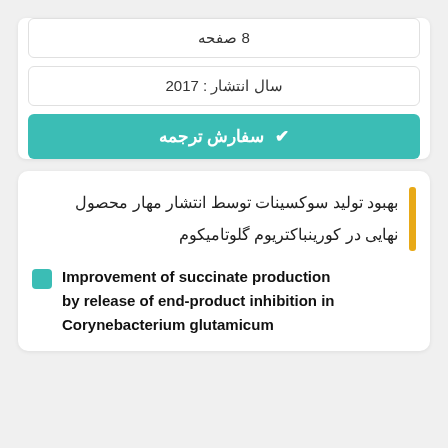8 صفحه
سال انتشار : 2017
✔ سفارش ترجمه
بهبود تولید سوکسینات توسط انتشار مهار محصول نهایی در کورینباکتریوم گلوتامیکوم
Improvement of succinate production by release of end-product inhibition in Corynebacterium glutamicum